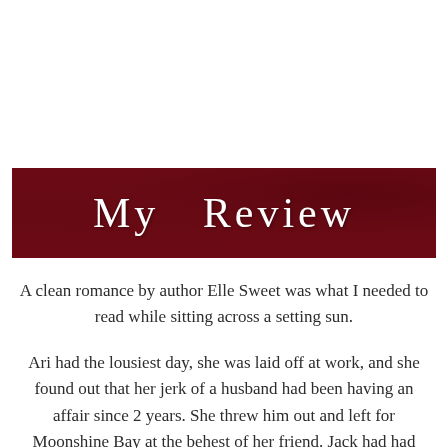[Figure (other): Dark crimson/maroon banner with decorative script text reading 'My Review']
A clean romance by author Elle Sweet was what I needed to read while sitting across a setting sun.
Ari had the lousiest day, she was laid off at work, and she found out that her jerk of a husband had been having an affair since 2 years. She threw him out and left for Moonshine Bay at the behest of her friend. Jack had had